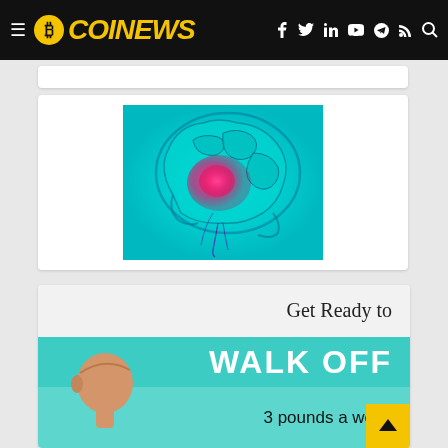COINEWS
[Figure (illustration): Medical illustration of a human brain x-ray in teal/cyan color with a pink/red highlighted area indicating a brain condition or stroke, seen from the side profile with visible blood vessels]
[Figure (infographic): Advertisement infographic with text 'Get Ready to WALK OFF 3 pounds a week' on teal banner background with a cartoon person illustration]